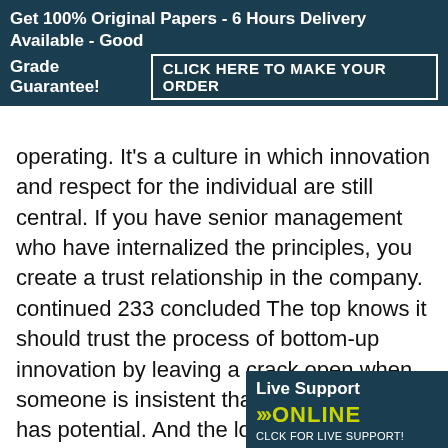Get 100% Original Papers - 6 Hours Delivery Available - Good Grade Guarantee! CLICK HERE TO MAKE YOUR ORDER
operating. It's a culture in which innovation and respect for the individual are still central. If you have senior management who have internalized the principles, you create a trust relationship in the company. continued 233 concluded The top knows it should trust the process of bottom-up innovation by leaving a crack open when someone is insistent that a blocked project has potential. And the lower levels have to trust the top when we intervene or control their activities. Source: Adapted from C. Bartlett and A. Mohammed, "3M: Profile of an In... Company," Harvard Business Sch...
[Figure (other): Live Support ONLINE badge - dark teal background with yellow/green chevrons and ONLINE text, CLCK FOR LIVE SUPPORT!]